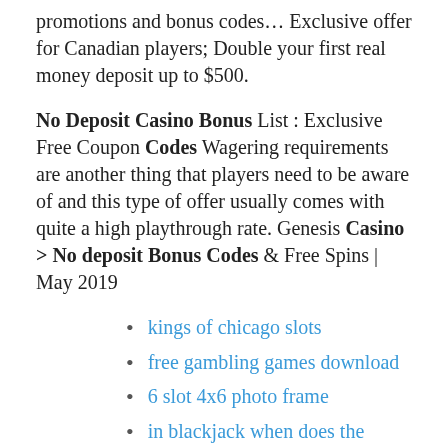promotions and bonus codes... Exclusive offer for Canadian players; Double your first real money deposit up to $500.
No Deposit Casino Bonus List : Exclusive Free Coupon Codes Wagering requirements are another thing that players need to be aware of and this type of offer usually comes with quite a high playthrough rate. Genesis Casino > No deposit Bonus Codes & Free Spins | May 2019
kings of chicago slots
free gambling games download
6 slot 4x6 photo frame
in blackjack when does the dealer stop hitting
3 vault symbols slot machine borderlands